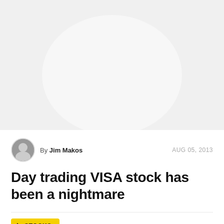[Figure (photo): Faded background image area, light grey/white photo placeholder at top of page]
By Jim Makos   AUG 05, 2013
Day trading VISA stock has been a nightmare
STOCKS   No comments